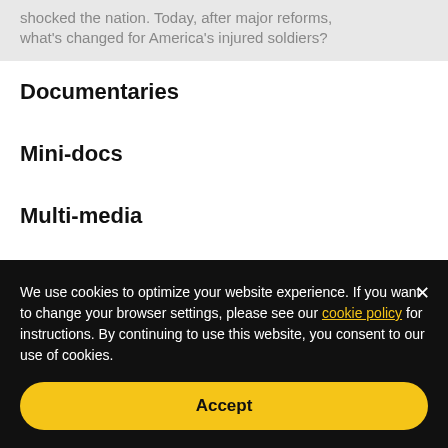shocked the nation. Today, after major reforms, what's changed for America's injured soldiers?
Documentaries
Mini-docs
Multi-media
Series
We use cookies to optimize your website experience. If you want to change your browser settings, please see our cookie policy for instructions. By continuing to use this website, you consent to our use of cookies.
Accept